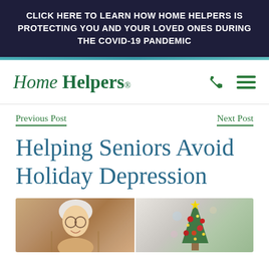CLICK HERE TO LEARN HOW HOME HELPERS IS PROTECTING YOU AND YOUR LOVED ONES DURING THE COVID-19 PANDEMIC
[Figure (logo): Home Helpers logo in green italic serif font with phone and menu icons]
Previous Post
Next Post
Helping Seniors Avoid Holiday Depression
[Figure (photo): Elderly woman with white hair and glasses smiling, seated in a wicker chair, alongside a Christmas tree with red ornaments and lights]